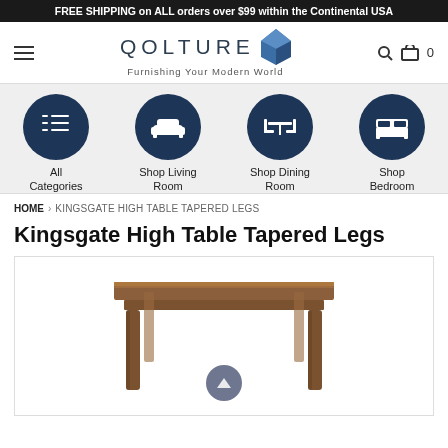FREE SHIPPING on ALL orders over $99 within the Continental USA
[Figure (screenshot): Qolture website header with hamburger menu, logo 'QOLTURE Furnishing Your Modern World', diamond logo icon, search icon, and cart with 0 items]
[Figure (infographic): Category navigation icons: All Categories (list icon), Shop Living Room (armchair icon), Shop Dining Room (table with chairs icon), Shop Bedroom (bed icon) — all in dark navy circles on grey background]
HOME › KINGSGATE HIGH TABLE TAPERED LEGS
Kingsgate High Table Tapered Legs
[Figure (photo): Product photo showing the Kingsgate High Table with tapered legs — a square wooden high table in walnut/brown finish, viewed from a slight angle. A circular scroll-to-top button is overlaid at the bottom center.]